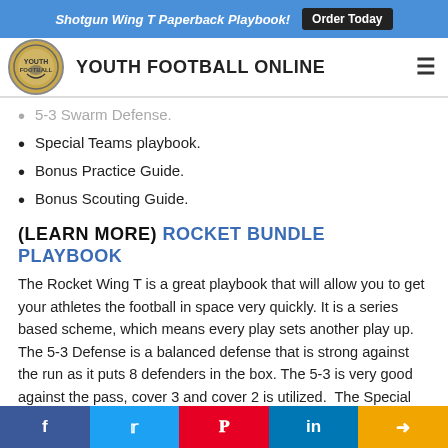Shotgun Wing T Paperback Playbook! Order Today
YOUTH FOOTBALL ONLINE
5-3 Swarm Defense.
Special Teams playbook.
Bonus Practice Guide.
Bonus Scouting Guide.
(LEARN MORE) ROCKET BUNDLE PLAYBOOK
The Rocket Wing T is a great playbook that will allow you to get your athletes the football in space very quickly. It is a series based scheme, which means every play sets another play up.  The 5-3 Defense is a balanced defense that is strong against the run as it puts 8 defenders in the box. The 5-3 is very good against the pass, cover 3 and cover 2 is utilized.  The Special Teams Playbook is simple and very
f  t  p  in  share